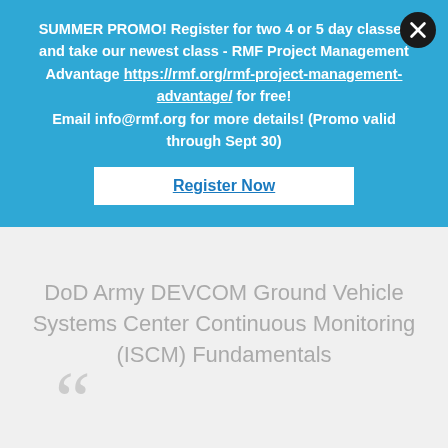SUMMER PROMO! Register for two 4 or 5 day classes and take our newest class - RMF Project Management Advantage https://rmf.org/rmf-project-management-advantage/ for free! Email info@rmf.org for more details! (Promo valid through Sept 30)
Register Now
DoD Army DEVCOM Ground Vehicle Systems Center Continuous Monitoring (ISCM) Fundamentals